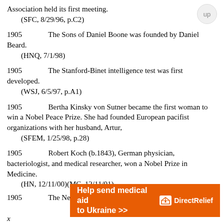Association held its first meeting.
    (SFC, 8/29/96, p.C2)
1905        The Sons of Daniel Boone was founded by Daniel Beard.
    (HNQ, 7/1/98)
1905        The Stanford-Binet intelligence test was first developed.
    (WSJ, 6/5/97, p.A1)
1905        Bertha Kinsky von Sutner became the first woman to win a Nobel Peace Prize. She had founded European pacifist organizations with her husband, Artur,
    (SFEM, 1/25/98, p.28)
1905        Robert Koch (b.1843), German physician, bacteriologist, and medical researcher, won a Nobel Prize in Medicine.
    (HN, 12/11/00)(MC, 12/11/01)
1905        The New York Giants with the help of
[Figure (other): Orange advertisement banner for Direct Relief: 'Help send medical aid to Ukraine >>' with Direct Relief logo on the right.]